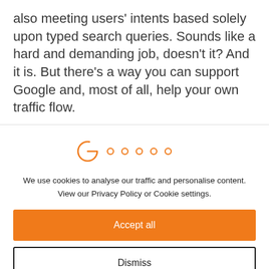also meeting users' intents based solely upon typed search queries. Sounds like a hard and demanding job, doesn't it? And it is. But there's a way you can support Google and, most of all, help your own traffic flow.
[Figure (other): Cookie consent modal loading spinner — orange partial circle (G-like arc) followed by five small orange circles in a horizontal row, indicating a loading state.]
We use cookies to analyse our traffic and personalise content. View our Privacy Policy or Cookie settings.
Accept all
Dismiss
Preferences